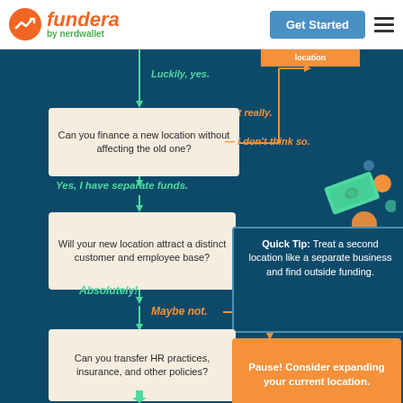[Figure (flowchart): Fundera by NerdWallet branded flowchart infographic showing a decision tree for business expansion to a new location. Questions include: Can you finance a new location without affecting the old one? Will your new location attract a distinct customer and employee base? Can you transfer HR practices, insurance, and other policies? Branches labeled Luckily yes, Not really, Yes I have separate funds, I don't think so, Absolutely!, Maybe not, Pause! Consider expanding your current location. Quick Tip: Treat a second location like a separate business and find outside funding.]